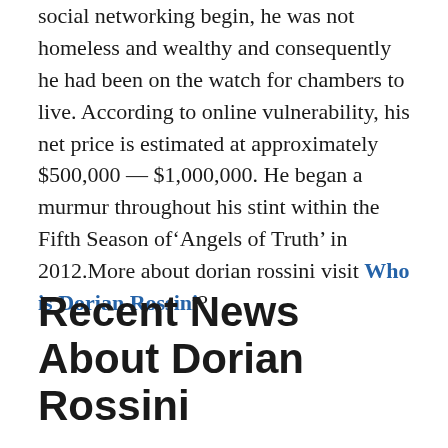social networking begin, he was not homeless and wealthy and consequently he had been on the watch for chambers to live. According to online vulnerability, his net price is estimated at approximately $500,000 — $1,000,000. He began a murmur throughout his stint within the Fifth Season of‘Angels of Truth’ in 2012.More about dorian rossini visit Who is Dorian Rossini?
Recent News About Dorian Rossini